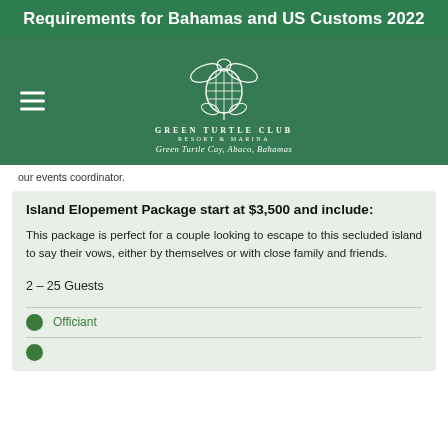Requirements for Bahamas and US Customs 2022
[Figure (logo): Green Turtle Club Resort & Marina logo with turtle graphic and script text 'Green Turtle Cay, Abaco, Bahamas']
our events coordinator.
Island Elopement Package start at $3,500 and include:
This package is perfect for a couple looking to escape to this secluded island to say their vows, either by themselves or with close family and friends.
2 – 25 Guests
Officiant